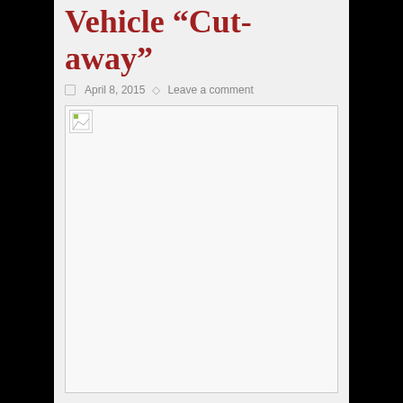Vehicle “Cut-away”
April 8, 2015   Leave a comment
[Figure (photo): Photo placeholder of the vehicle cut-away showing the interior with lithium ion high-voltage battery]
With the passenger’s side removed, the interior shows the lithium ion high-voltage battery running along the center of the vehicle. In this 2015 VOLT, the rear seat is now a three-seater, making this a 5-passenger vehicle with 8 airbags.
Read More »
2015 Ford Best...